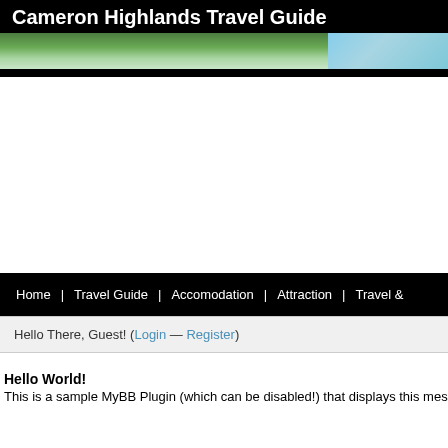Cameron Highlands Travel Guide
[Figure (photo): Banner image showing green highland terrain with sky on the right]
[Figure (screenshot): White content area (advertisement or empty content block)]
Home | Travel Guide | Accomodation | Attraction | Travel &
Hello There, Guest! (Login — Register)
Hello World!
This is a sample MyBB Plugin (which can be disabled!) that displays this mess